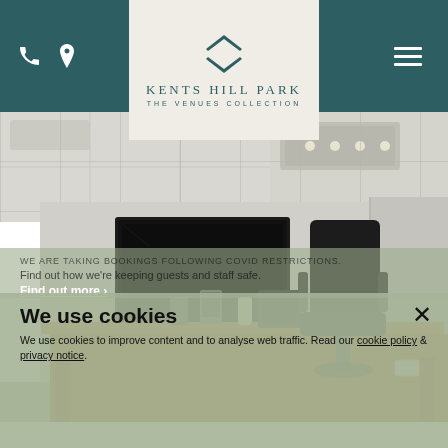Kents Hill Park - The Venues Collection
[Figure (photo): Interior photo of a conference/meeting room with a wooden desk, large wall-mounted TV screen on a stand, black executive chair, grey walls and ceiling tiles with recessed lighting.]
We are taking bookings following COVID restrictions. Find out how we're keeping guests and staff safe.
Find out more
We use cookies
We use cookies to improve content and to analyse web traffic. Read our cookie policy & privacy notice.